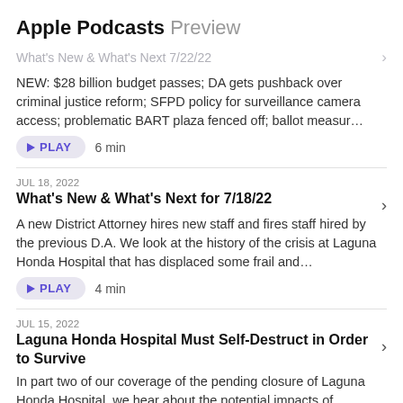Apple Podcasts Preview
What's New & What's Next 7/22/22
NEW: $28 billion budget passes; DA gets pushback over criminal justice reform; SFPD policy for surveillance camera access; problematic BART plaza fenced off; ballot measur...
PLAY   6 min
JUL 18, 2022
What's New & What's Next for 7/18/22
A new District Attorney hires new staff and fires staff hired by the previous D.A. We look at the history of the crisis at Laguna Honda Hospital that has displaced some frail and...
PLAY   4 min
JUL 15, 2022
Laguna Honda Hospital Must Self-Destruct in Order to Survive
In part two of our coverage of the pending closure of Laguna Honda Hospital, we hear about the potential impacts of relocating patients - a directive from the Center for...
PLAY   28 min